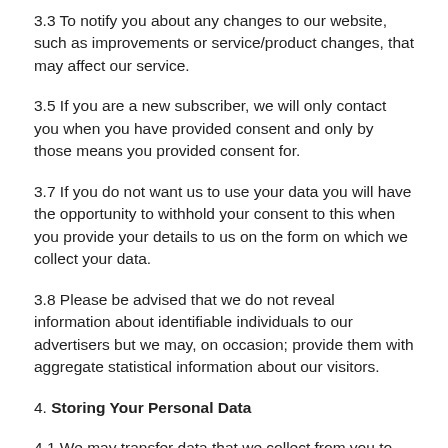3.3 To notify you about any changes to our website, such as improvements or service/product changes, that may affect our service.
3.5 If you are a new subscriber, we will only contact you when you have provided consent and only by those means you provided consent for.
3.7 If you do not want us to use your data you will have the opportunity to withhold your consent to this when you provide your details to us on the form on which we collect your data.
3.8 Please be advised that we do not reveal information about identifiable individuals to our advertisers but we may, on occasion; provide them with aggregate statistical information about our visitors.
4. Storing Your Personal Data
4.1 We may transfer data that we collect from you to locations outside of the European Economic A